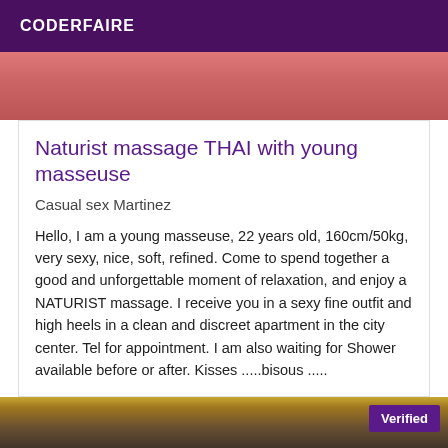CODERFAIRE
[Figure (photo): Top portion of an image showing pink/red fabric or clothing]
Naturist massage THAI with young masseuse
Casual sex Martinez
Hello, I am a young masseuse, 22 years old, 160cm/50kg, very sexy, nice, soft, refined. Come to spend together a good and unforgettable moment of relaxation, and enjoy a NATURIST massage. I receive you in a sexy fine outfit and high heels in a clean and discreet apartment in the city center. Tel for appointment. I am also waiting for Shower available before or after. Kisses .....bisous .....
[Figure (photo): Bottom portion showing a person with dark hair viewed from behind, with a Verified badge in the top-right corner]